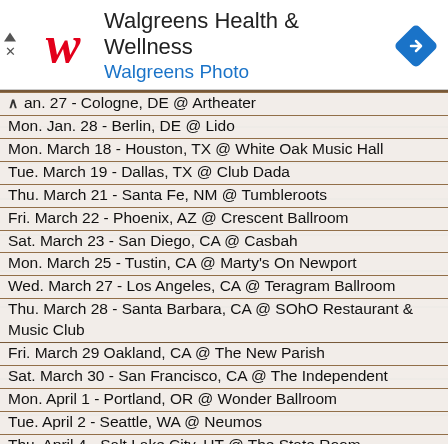[Figure (logo): Walgreens Health & Wellness advertisement banner with Walgreens script logo, title 'Walgreens Health & Wellness', subtitle 'Walgreens Photo', and navigation arrow icon]
Jan. 27 - Cologne, DE @ Artheater
Mon. Jan. 28 - Berlin, DE @ Lido
Mon. March 18 - Houston, TX @ White Oak Music Hall
Tue. March 19 - Dallas, TX @ Club Dada
Thu. March 21 - Santa Fe, NM @ Tumbleroots
Fri. March 22 - Phoenix, AZ @ Crescent Ballroom
Sat. March 23 - San Diego, CA @ Casbah
Mon. March 25 - Tustin, CA @ Marty's On Newport
Wed. March 27 - Los Angeles, CA @ Teragram Ballroom
Thu. March 28 - Santa Barbara, CA @ SOhO Restaurant & Music Club
Fri. March 29 Oakland, CA @ The New Parish
Sat. March 30 - San Francisco, CA @ The Independent
Mon. April 1 - Portland, OR @ Wonder Ballroom
Tue. April 2 - Seattle, WA @ Neumos
Thu. April 4 - Salt Lake City, UT @ The State Room
Fri. April 5 - Denver, CO @ Bluebird Theater